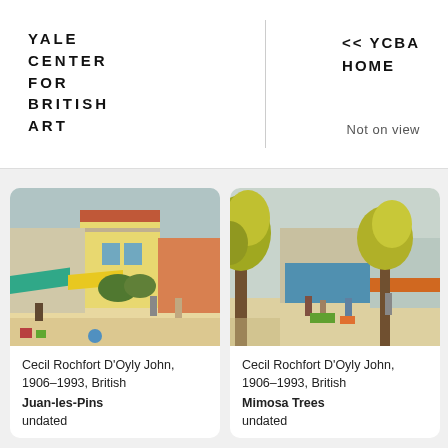YALE CENTER FOR BRITISH ART
<< YCBA HOME
Not on view
[Figure (photo): Painting of a Mediterranean street scene with colorful buildings, awnings, and figures — Juan-les-Pins by Cecil Rochfort D'Oyly John]
Cecil Rochfort D'Oyly John, 1906–1993, British
Juan-les-Pins
undated
[Figure (photo): Painting of a sunny square with mimosa trees, buildings, and figures — Mimosa Trees by Cecil Rochfort D'Oyly John]
Cecil Rochfort D'Oyly John, 1906–1993, British
Mimosa Trees
undated